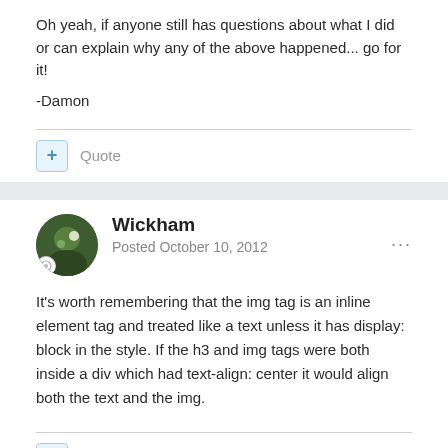Oh yeah, if anyone still has questions about what I did or can explain why any of the above happened... go for it!
-Damon
Quote
Wickham
Posted October 10, 2012
It's worth remembering that the img tag is an inline element tag and treated like a text unless it has display: block in the style. If the h3 and img tags were both inside a div which had text-align: center it would align both the text and the img.
Quote